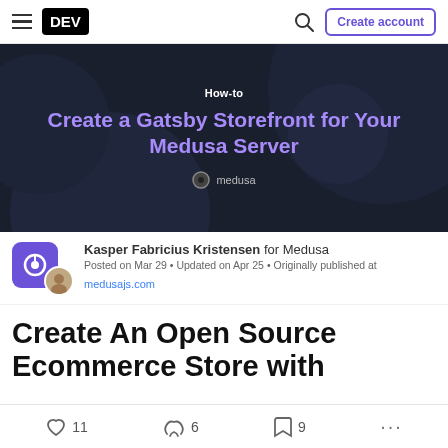DEV — Create account
[Figure (screenshot): Dark hero banner with decorative background circles showing 'How-to' tag, purple title 'Create a Gatsby Storefront for Your Medusa Server', and medusa organization tag]
Kasper Fabricius Kristensen for Medusa
Posted on Mar 29 • Updated on Apr 25 • Originally published at medusajs.com
Create An Open Source Ecommerce Store with
11 likes  6 unicorns  9 bookmarks